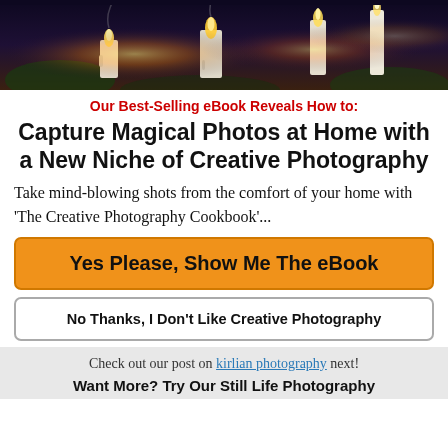[Figure (photo): Atmospheric photo of candles with smoke and mystical lighting against dark background with foliage]
Our Best-Selling eBook Reveals How to:
Capture Magical Photos at Home with a New Niche of Creative Photography
Take mind-blowing shots from the comfort of your home with 'The Creative Photography Cookbook'...
Yes Please, Show Me The eBook
No Thanks, I Don't Like Creative Photography
Check out our post on kirlian photography next!
Want More? Try Our Still Life Photography